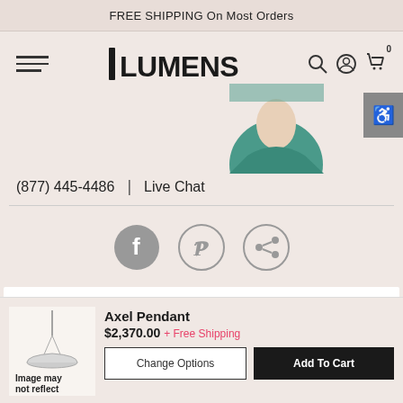FREE SHIPPING On Most Orders
[Figure (logo): Lumens logo with vertical bar and bold text]
(877) 445-4486  |  Live Chat
[Figure (infographic): Social share icons: Facebook, Pinterest, Share]
[Figure (photo): Partial photo of person wearing teal/green top]
Axel Pendant
$2,370.00 + Free Shipping
Change Options
Add To Cart
Image may not reflect